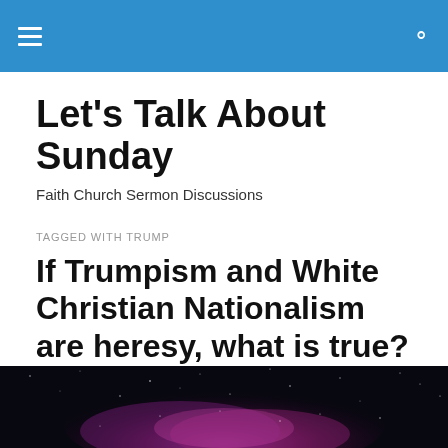Let's Talk About Sunday
Faith Church Sermon Discussions
TAGGED WITH TRUMP
If Trumpism and White Christian Nationalism are heresy, what is true? – Colossians 2:8-15, Part 4
[Figure (photo): Dark night sky / space background image with purple/pink nebula-like colors at the bottom of the page]